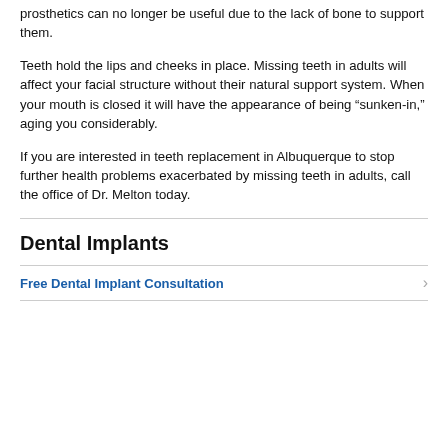prosthetics can no longer be useful due to the lack of bone to support them.
Teeth hold the lips and cheeks in place. Missing teeth in adults will affect your facial structure without their natural support system. When your mouth is closed it will have the appearance of being “sunken-in,” aging you considerably.
If you are interested in teeth replacement in Albuquerque to stop further health problems exacerbated by missing teeth in adults, call the office of Dr. Melton today.
Dental Implants
Free Dental Implant Consultation